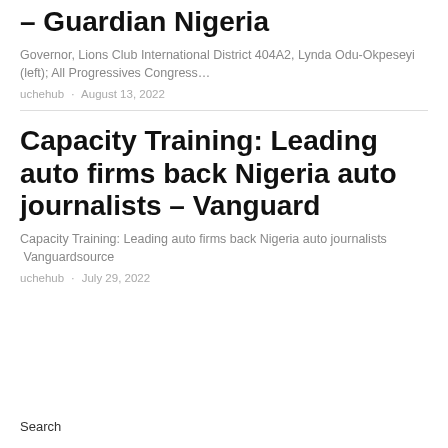– Guardian Nigeria
Governor, Lions Club International District 404A2, Lynda Odu-Okpeseyi (left); All Progressives Congress…
uchehub · August 13, 2022
Capacity Training: Leading auto firms back Nigeria auto journalists – Vanguard
Capacity Training: Leading auto firms back Nigeria auto journalists  Vanguardsource
uchehub · July 29, 2022
Search